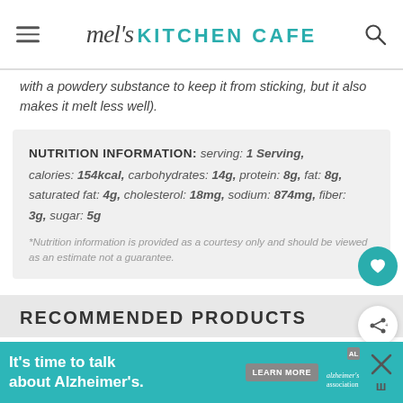mel's KITCHEN CAFE
with a powdery substance to keep it from sticking, but it also makes it melt less well).
| Nutrition Information |
| --- |
| serving: 1 Serving, calories: 154kcal, carbohydrates: 14g, protein: 8g, fat: 8g, saturated fat: 4g, cholesterol: 18mg, sodium: 874mg, fiber: 3g, sugar: 5g |
| *Nutrition information is provided as a courtesy only and should be viewed as an estimate not a guarantee. |
RECOMMENDED PRODUCTS
[Figure (screenshot): Advertisement banner: It's time to talk about Alzheimer's. with a Learn More button and Alzheimer's Association logo.]